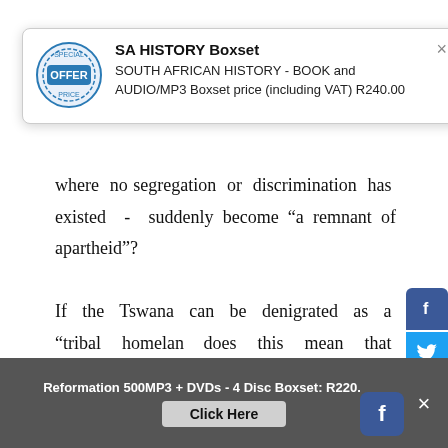[Figure (other): Popup box advertising SA HISTORY Boxset with circular OFFER stamp icon. Title: SA HISTORY Boxset. Description: SOUTH AFRICAN HISTORY - BOOK and AUDIO/MP3 Boxset price (including VAT) R240.00. Has a close X button.]
where no segregation or discrimination has existed - suddenly become “a remnant of apartheid”? If the Tswana can be denigrated as a “tribal homeland” does this mean that “Time” regards the Kingdoms of Swaziland and Lesotho as unworthy of independence and nationhood? After all the Swazi’s, Sotho’s and Tswana’s are each homogeneous nations who used to be British protectorates. Are the Dutch, Danes, Norwegians or Swedes “tribal homelands” because the
[Figure (other): Social media sharing buttons on right side: Facebook (blue), Twitter (blue), WhatsApp (green), Messenger (blue circle), Google+ (red), Pinterest (dark red), More (...) grey]
Reformation 500MP3 + DVDs - 4 Disc Boxset: R220. Click Here